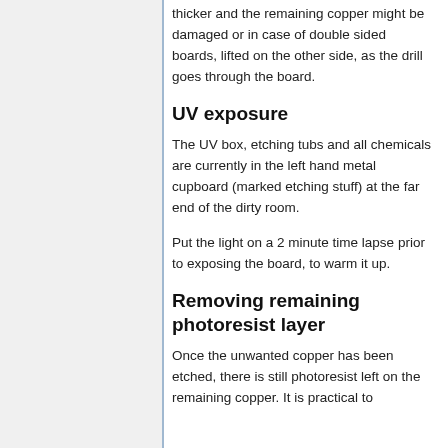thicker and the remaining copper might be damaged or in case of double sided boards, lifted on the other side, as the drill goes through the board.
UV exposure
The UV box, etching tubs and all chemicals are currently in the left hand metal cupboard (marked etching stuff) at the far end of the dirty room.
Put the light on a 2 minute time lapse prior to exposing the board, to warm it up.
Removing remaining photoresist layer
Once the unwanted copper has been etched, there is still photoresist left on the remaining copper. It is practical to